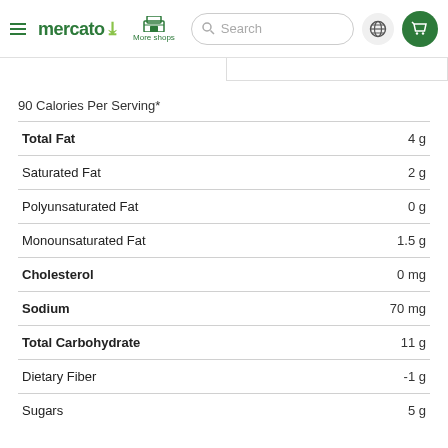mercato — More shops — Search — Globe — Cart
90 Calories Per Serving*
| Nutrient | Amount |
| --- | --- |
| Total Fat | 4 g |
| Saturated Fat | 2 g |
| Polyunsaturated Fat | 0 g |
| Monounsaturated Fat | 1.5 g |
| Cholesterol | 0 mg |
| Sodium | 70 mg |
| Total Carbohydrate | 11 g |
| Dietary Fiber | -1 g |
| Sugars | 5 g |